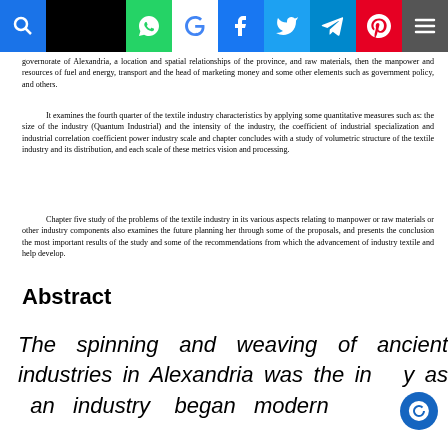[Navigation bar with search, WhatsApp, Google, Facebook, Twitter, Telegram, Pinterest, Menu icons]
governorate of Alexandria, a location and spatial relationships of the province, and raw materials, then the manpower and resources of fuel and energy, transport and the head of marketing money and some other elements such as government policy, and others.
It examines the fourth quarter of the textile industry characteristics by applying some quantitative measures such as: the size of the industry (Quantum Industrial) and the intensity of the industry, the coefficient of industrial specialization and industrial correlation coefficient power industry scale and chapter concludes with a study of volumetric structure of the textile industry and its distribution, and each scale of these metrics vision and processing.
Chapter five study of the problems of the textile industry in its various aspects relating to manpower or raw materials or other industry components also examines the future planning her through some of the proposals, and presents the conclusion the most important results of the study and some of the recommendations from which the advancement of industry textile and help develop.
Abstract
The spinning and weaving of ancient industries in Alexandria was the industry as an industry began modern